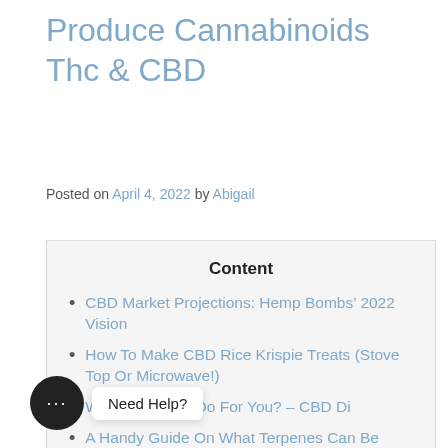Produce Cannabinoids Thc & CBD
Posted on April 4, 2022 by Abigail
Content
CBD Market Projections: Hemp Bombs’ 2022 Vision
How To Make CBD Rice Krispie Treats (Stove Top Or Microwave!)
What Can CBD Do For You? – CBD Di...
A Handy Guide On What Terpenes Can Be Found In Hemp CBD Flower